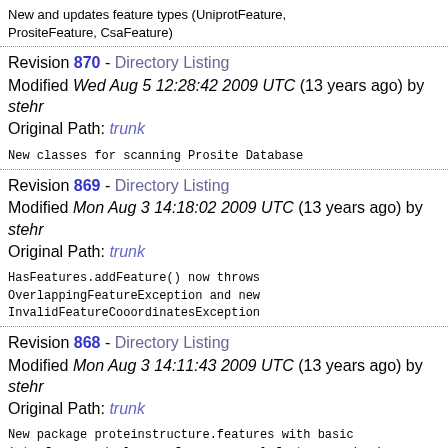New and updates feature types (UniprotFeature, PrositeFeature, CsaFeature)
Revision 870 - Directory Listing
Modified Wed Aug 5 12:28:42 2009 UTC (13 years ago) by stehr
Original Path: trunk
New classes for scanning Prosite Database
Revision 869 - Directory Listing
Modified Mon Aug 3 14:18:02 2009 UTC (13 years ago) by stehr
Original Path: trunk
HasFeatures.addFeature() now throws OverlappingFeatureException and new InvalidFeatureCooordinatesException
Revision 868 - Directory Listing
Modified Mon Aug 3 14:11:43 2009 UTC (13 years ago) by stehr
Original Path: trunk
New package proteinstructure.features with basic interfaces and classes for a general feature mechanism which could eventuelly replace classes like Scop, ScopRegion, ECRegion, CatalyticSite, CatalyticSiteSet